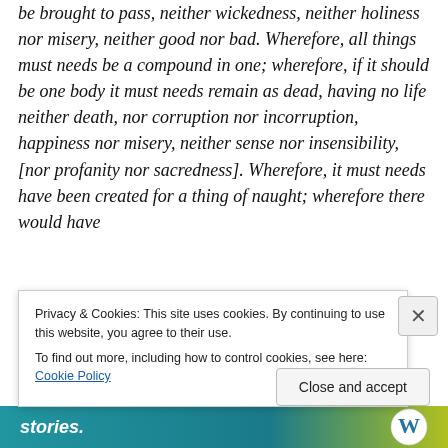be brought to pass, neither wickedness, neither holiness nor misery, neither good nor bad. Wherefore, all things must needs be a compound in one; wherefore, if it should be one body it must needs remain as dead, having no life neither death, nor corruption nor incorruption, happiness nor misery, neither sense nor insensibility, [nor profanity nor sacredness]. Wherefore, it must needs have been created for a thing of naught; wherefore there would have
Privacy & Cookies: This site uses cookies. By continuing to use this website, you agree to their use. To find out more, including how to control cookies, see here: Cookie Policy
Close and accept
stories.